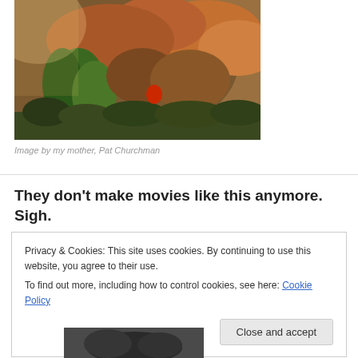[Figure (photo): Autumn hillside with trees showing fall foliage in orange, red, and green tones, with warm sunlight]
Image by my mother, Pat Churchman
They don't make movies like this anymore. Sigh.
Privacy & Cookies: This site uses cookies. By continuing to use this website, you agree to their use.
To find out more, including how to control cookies, see here: Cookie Policy
Close and accept